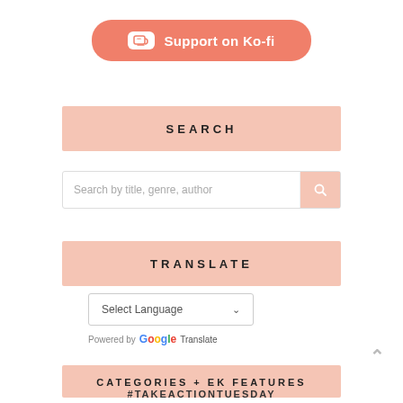[Figure (illustration): Ko-fi support button with cup/heart icon, salmon/coral rounded rectangle button reading 'Support on Ko-fi']
SEARCH
[Figure (screenshot): Search input box with placeholder text 'Search by title, genre, author' and a salmon-colored search icon button on the right]
TRANSLATE
[Figure (screenshot): Select Language dropdown with chevron arrow. Below: 'Powered by Google Translate']
CATEGORIES + EK FEATURES
#TAKEACTIONTUESDAY
BOOK EVENTS
BOOK HAUL
BOOK REVIEWS